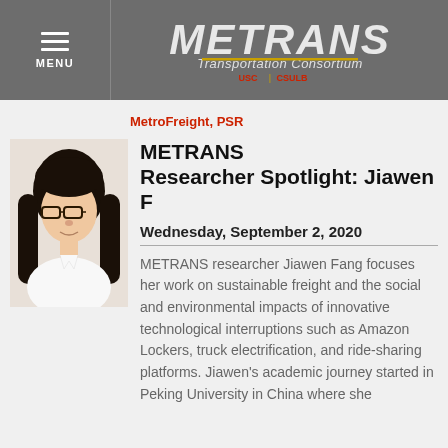METRANS Transportation Consortium | MENU
MetroFreight, PSR
METRANS Researcher Spotlight: Jiawen F
Wednesday, September 2, 2020
[Figure (photo): Headshot photo of Jiawen Fang, a young woman with long dark hair and glasses, wearing a white top, against a white background.]
METRANS researcher Jiawen Fang focuses her work on sustainable freight and the social and environmental impacts of innovative technological interruptions such as Amazon Lockers, truck electrification, and ride-sharing platforms. Jiawen's academic journey started in Peking University in China where she